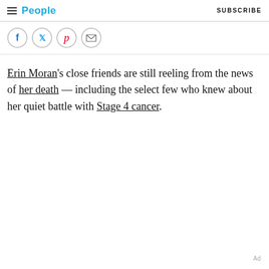People | SUBSCRIBE
[Figure (other): Social sharing icons: Facebook, Twitter, Pinterest, Email]
Erin Moran's close friends are still reeling from the news of her death — including the select few who knew about her quiet battle with Stage 4 cancer.
Ad